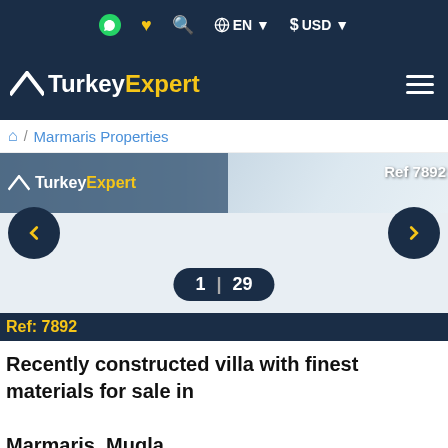TurkeyExpert — EN USD navigation header
[Figure (screenshot): TurkeyExpert real estate website screenshot showing property listing for villa in Marmaris. Includes logo bar, breadcrumb navigation, property image slider with Ref 7892, page indicator 1|29, and property title.]
/ Marmaris Properties
Ref 7892
1 | 29
Ref: 7892
Recently constructed villa with finest materials for sale in Marmaris, Mugla